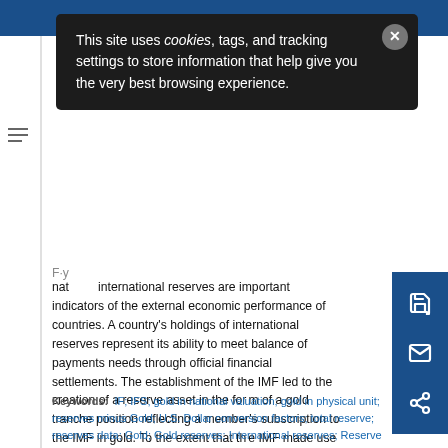[Figure (other): Cookie consent popup overlay: 'This site uses cookies, tags, and tracking settings to store information that help give you the very best browsing experience.']
Payment and national ... international reserves are important indicators of the external economic performance of countries. A country's holdings of international reserves represent its ability to meet balance of payments needs through official financial settlements. The establishment of the IMF led to the creation of a reserve asset in the form of a gold tranche position reflecting a member's subscription to the IMF in gold. To the extent that the IMF made use of a member's currency in drawings of other countries, a creation of new reserves was involved.
Keywords: IF; IFS; gold in national valuation; gold in physical unit; reserves minus Gold; U.S. Dollar conversion factors; total reserve; reserves data; Gold; Gold reserves; International reserves; Reserve assets;